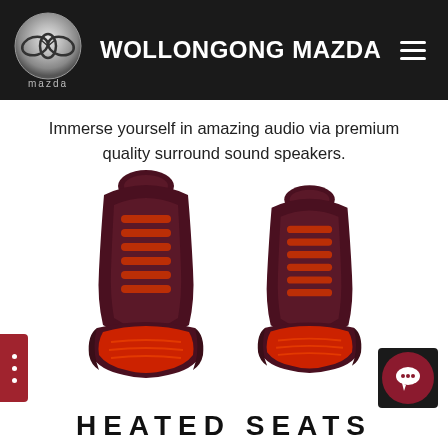WOLLONGONG MAZDA
Immerse yourself in amazing audio via premium quality surround sound speakers.
[Figure (illustration): Two dark red/maroon heated car seats side by side, with red glowing heating elements visible on the seat cushions and backrests.]
HEATED SEATS